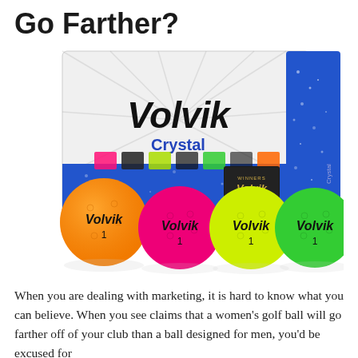Go Farther?
[Figure (photo): Volvik Crystal golf ball box with four colored golf balls in front: orange, pink, yellow-green, and green, each branded with 'Volvik' and number 1.]
When you are dealing with marketing, it is hard to know what you can believe. When you see claims that a women's golf ball will go farther off of your club than a ball designed for men, you'd be excused for